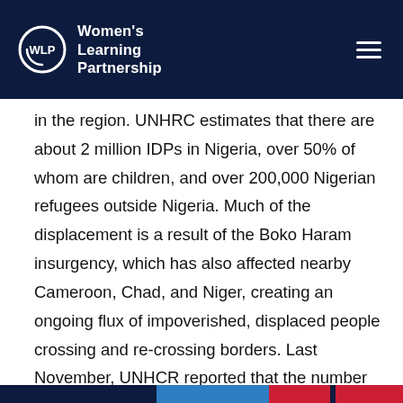Women's Learning Partnership
in the region. UNHRC estimates that there are about 2 million IDPs in Nigeria, over 50% of whom are children, and over 200,000 Nigerian refugees outside Nigeria. Much of the displacement is a result of the Boko Haram insurgency, which has also affected nearby Cameroon, Chad, and Niger, creating an ongoing flux of impoverished, displaced people crossing and re-crossing borders. Last November, UNHCR reported that the number of Cameroonians fleeing violence and seeking refuge in Nigeria was over 30,000, 80% of whom are women and children. However, just this month there have